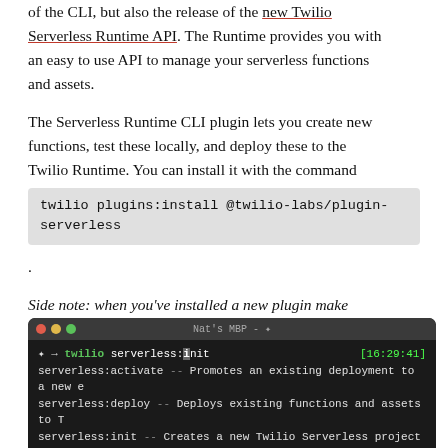of the CLI, but also the release of the new Twilio Serverless Runtime API. The Runtime provides you with an easy to use API to manage your serverless functions and assets.
The Serverless Runtime CLI plugin lets you create new functions, test these locally, and deploy these to the Twilio Runtime. You can install it with the command twilio plugins:install @twilio-labs/plugin-serverless.
Side note: when you've installed a new plugin make sure to run twilio autocomplete again to add the new commands to the list of the completion commands.
[Figure (screenshot): Terminal window showing twilio serverless:init command with autocomplete suggestions including serverless:activate, serverless:deploy, and serverless:init]